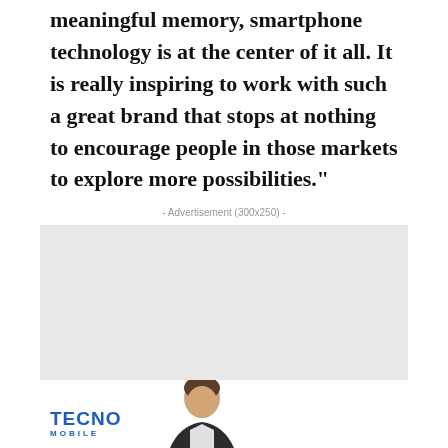meaningful memory, smartphone technology is at the center of it all. It is really inspiring to work with such a great brand that stops at nothing to encourage people in those markets to explore more possibilities."
- Advertisement (300x250) -
[Figure (other): Gray advertisement placeholder box 300x250]
[Figure (logo): TECNO Mobile logo in blue with partial person image below]